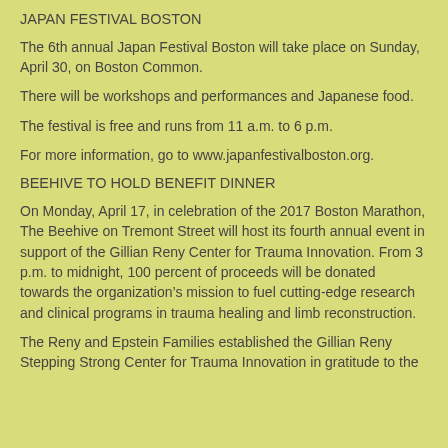JAPAN FESTIVAL BOSTON
The 6th annual Japan Festival Boston will take place on Sunday, April 30, on Boston Common.
There will be workshops and performances and Japanese food.
The festival is free and runs from 11 a.m. to 6 p.m.
For more information, go to www.japanfestivalboston.org.
BEEHIVE TO HOLD BENEFIT DINNER
On Monday, April 17, in celebration of the 2017 Boston Marathon, The Beehive on Tremont Street will host its fourth annual event in support of the Gillian Reny Center for Trauma Innovation. From 3 p.m. to midnight, 100 percent of proceeds will be donated towards the organization’s mission to fuel cutting-edge research and clinical programs in trauma healing and limb reconstruction.
The Reny and Epstein Families established the Gillian Reny Stepping Strong Center for Trauma Innovation in gratitude to the